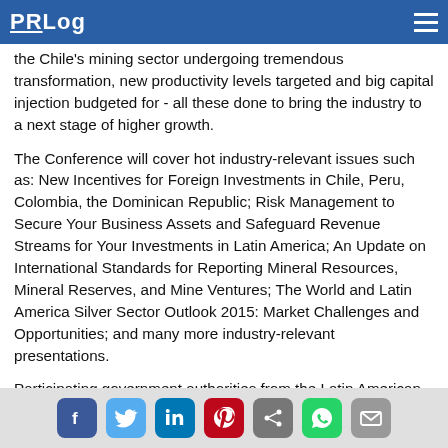PRLog
the Chile's mining sector undergoing tremendous transformation, new productivity levels targeted and big capital injection budgeted for - all these done to bring the industry to a next stage of higher growth.
The Conference will cover hot industry-relevant issues such as: New Incentives for Foreign Investments in Chile, Peru, Colombia, the Dominican Republic; Risk Management to Secure Your Business Assets and Safeguard Revenue Streams for Your Investments in Latin America; An Update on International Standards for Reporting Mineral Resources, Mineral Reserves, and Mine Ventures; The World and Latin America Silver Sector Outlook 2015: Market Challenges and Opportunities; and many more industry-relevant presentations.
Participating government authorities from the Latin American region include: Cristina Thomen, Board Director, Camara Minera de Petrolera, Dominican Republic; Mario Huapaya Nava, Secretary General, Ministry of Mining, Peru; Fidel Baez Nunez, Vice President, CODELCO, Chile; Dr Adolfo Lopez, Director (International), Chilean Copper Commission (COCHILCO); Edmundo Tulcanaza, Chairman, Committee for Mineral Reserves...
Social sharing icons: Facebook, Twitter, LinkedIn, Pinterest, Share, WhatsApp, Email